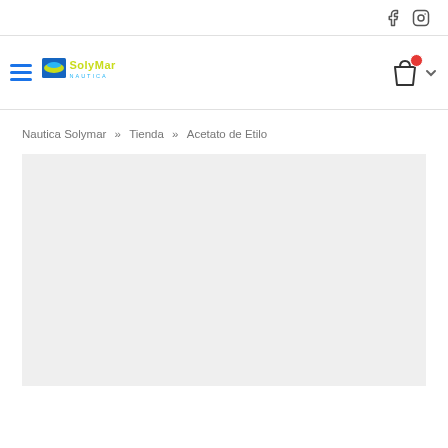[Figure (logo): Social media icons: Facebook and Instagram]
[Figure (logo): SolyMar Nautica logo with hamburger menu and shopping cart icon with red badge]
Nautica Solymar » Tienda » Acetato de Etilo
[Figure (photo): Product image area - light gray placeholder background]